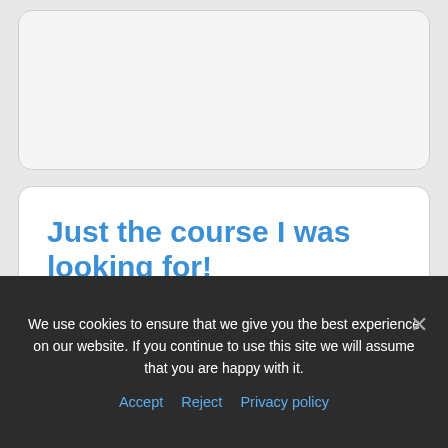[Figure (other): Top card placeholder — partially visible card with light gray background]
Just the course I was looking for!
Oliver Cook
This Online Business Legal Toolkit course exceeded my expectations! The
We use cookies to ensure that we give you the best experience on our website. If you continue to use this site we will assume that you are happy with it.
Accept   Reject   Privacy policy